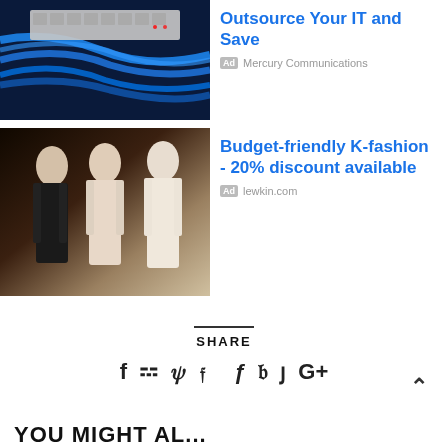[Figure (photo): Network/IT infrastructure photo showing ethernet cables and patch panel in blue tones]
Outsource Your IT and Save
Ad Mercury Communications
[Figure (photo): Fashion retail display with mannequins wearing clothing]
Budget-friendly K-fashion - 20% discount available
Ad lewkin.com
SHARE
f  ψ  P  Su  G+